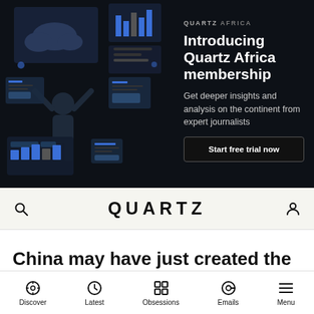[Figure (illustration): Dark-themed illustration showing a person with arms raised, surrounded by digital/data graphics, charts, icons on a dark background with blue accents - Quartz Africa membership promotional banner]
QUARTZ AFRICA
Introducing Quartz Africa membership
Get deeper insights and analysis on the continent from expert journalists
Start free trial now
QUARTZ
China may have just created the “Muslim Mandela”
Discover  Latest  Obsessions  Emails  Menu